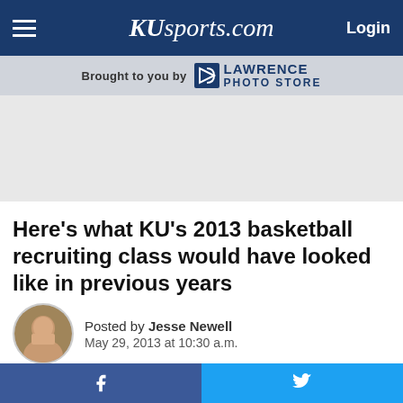KUsports.com — Login
Brought to you by Lawrence Photo Store
[Figure (other): Advertisement placeholder area (gray box)]
Here's what KU's 2013 basketball recruiting class would have looked like in previous years
Posted by Jesse Newell
May 29, 2013 at 10:30 a.m.
Kentuckysports.com recently put together a blog post about the Wildcats' recruiting class and how it might have looked like in earlier years
f (Facebook share) | (Twitter share)